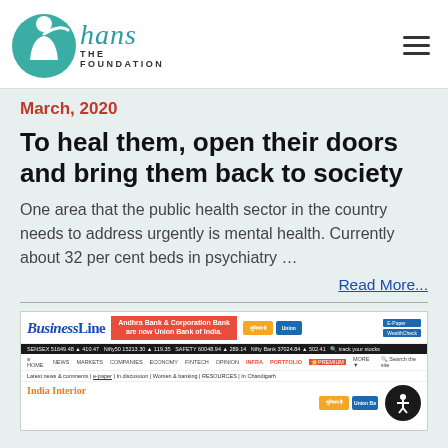[Figure (logo): The Hans Foundation logo with teal circular icon and italic 'hans' text with 'THE FOUNDATION' below]
March, 2020
To heal them, open their doors and bring them back to society
One area that the public health sector in the country needs to address urgently is mental health. Currently about 32 per cent beds in psychiatry ...
Read More...
[Figure (screenshot): Screenshot of BusinessLine website showing ad banner for Andhra Bank & Corporation Bank are now Union Bank of India, navigation bar, ticker, and India Interior section heading]